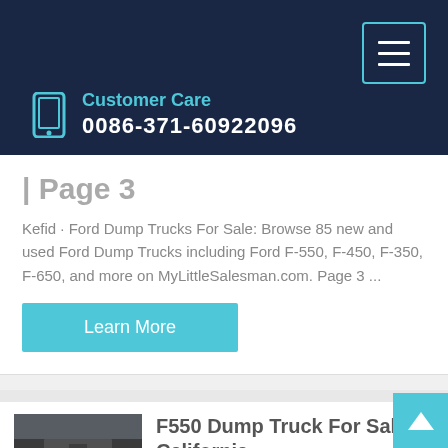Customer Care 0086-371-60922096
| Page 3
Kefid · Ford Dump Trucks For Sale: Browse 85 new and used Ford Dump Trucks including Ford F-550, F-450, F-350, F-650, and more on MyLittleSalesman.com. Page 3 ...
Learn More
[Figure (photo): Undercarriage/underside view of a dump truck]
F550 Dump Truck For Sale In California
Ford f550 xl dump truck for sale in